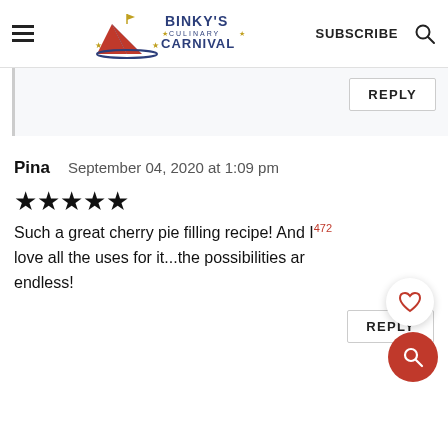Binky's Culinary Carnival — SUBSCRIBE
REPLY
Pina   September 04, 2020 at 1:09 pm
★★★★★
Such a great cherry pie filling recipe! And I love all the uses for it...the possibilities are endless!
REPLY